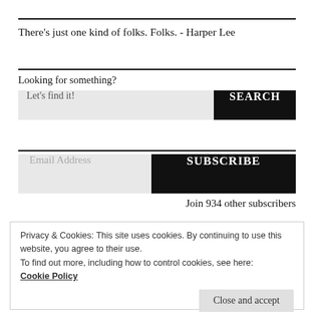There's just one kind of folks. Folks. - Harper Lee
Looking for something?
Let's find it!
SEARCH
Email Address
SUBSCRIBE
Join 934 other subscribers
Privacy & Cookies: This site uses cookies. By continuing to use this website, you agree to their use.
To find out more, including how to control cookies, see here: Cookie Policy
Close and accept